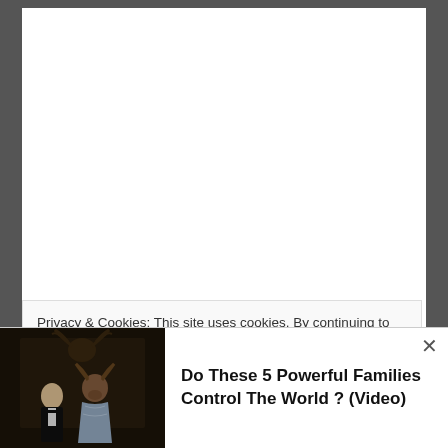Privacy & Cookies: This site uses cookies. By continuing to use this website, you agree to their use.
To find out more, including how to control cookies, see here: Cookie Policy
[Figure (photo): Ad banner image showing two people in formal wear, one wearing an animal (stag/jackalope) head mask, in a dark ornate room]
Do These 5 Powerful Families Control The World ? (Video)